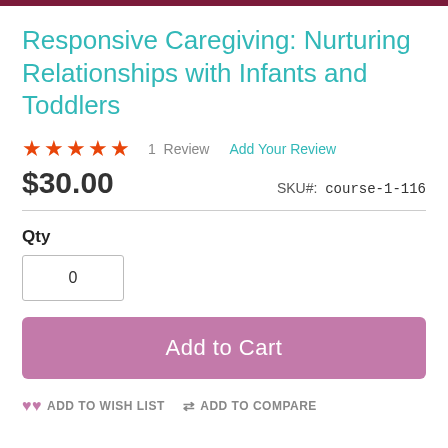Responsive Caregiving: Nurturing Relationships with Infants and Toddlers
★★★★★  1 Review  Add Your Review
$30.00  SKU#: course-1-116
Qty
0
Add to Cart
ADD TO WISH LIST  ADD TO COMPARE